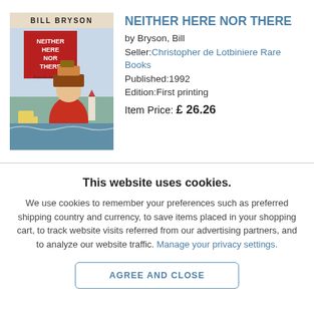[Figure (illustration): Book cover of 'Neither Here Nor There' by Bill Bryson, showing a cartoon man with luggage on his head against a scenic background.]
NEITHER HERE NOR THERE
by Bryson, Bill
Seller: Christopher de Lotbiniere Rare Books
Published: 1992
Edition: First printing
Item Price: £26.26
This website uses cookies.
We use cookies to remember your preferences such as preferred shipping country and currency, to save items placed in your shopping cart, to track website visits referred from our advertising partners, and to analyze our website traffic. Manage your privacy settings.